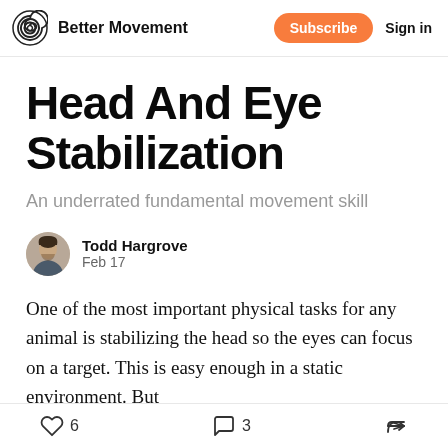Better Movement | Subscribe | Sign in
Head And Eye Stabilization
An underrated fundamental movement skill
Todd Hargrove
Feb 17
One of the most important physical tasks for any animal is stabilizing the head so the eyes can focus on a target. This is easy enough in a static environment. But
6 likes  3 comments  share